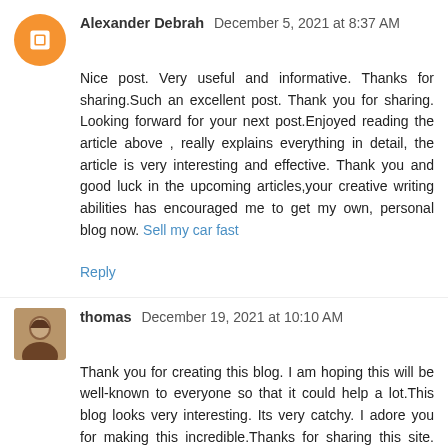Alexander Debrah  December 5, 2021 at 8:37 AM
Nice post. Very useful and informative. Thanks for sharing.Such an excellent post. Thank you for sharing. Looking forward for your next post.Enjoyed reading the article above , really explains everything in detail, the article is very interesting and effective. Thank you and good luck in the upcoming articles,your creative writing abilities has encouraged me to get my own, personal blog now. Sell my car fast
Reply
thomas  December 19, 2021 at 10:10 AM
Thank you for creating this blog. I am hoping this will be well-known to everyone so that it could help a lot.This blog looks very interesting. Its very catchy. I adore you for making this incredible.Thanks for sharing this site. Fantastic! Enjoyed reading the article above,your creative writing abilities has encouraged me to get my own,